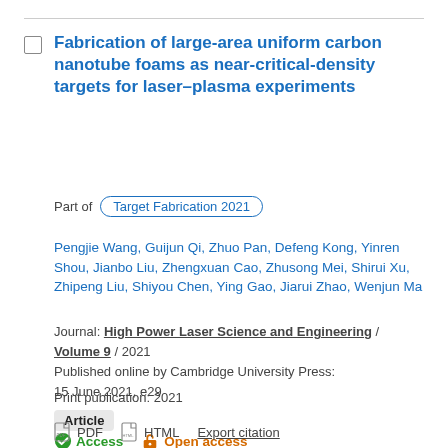Fabrication of large-area uniform carbon nanotube foams as near-critical-density targets for laser–plasma experiments
Part of  Target Fabrication 2021
Pengjie Wang, Guijun Qi, Zhuo Pan, Defeng Kong, Yinren Shou, Jianbo Liu, Zhengxuan Cao, Zhusong Mei, Shirui Xu, Zhipeng Liu, Shiyou Chen, Ying Gao, Jiarui Zhao, Wenjun Ma
Journal: High Power Laser Science and Engineering / Volume 9 / 2021
Published online by Cambridge University Press: 15 June 2021, e29
Print publication: 2021
Article
Access   Open access
PDF   HTML   Export citation